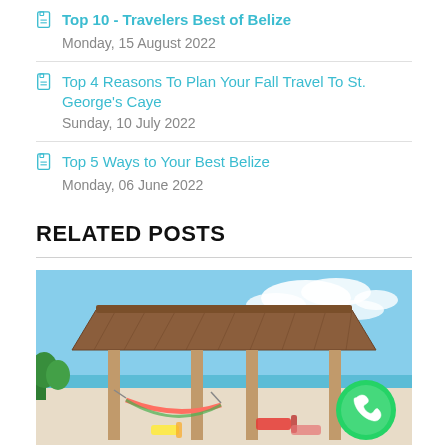Top 10 - Travelers Best of Belize
Monday, 15 August 2022
Top 4 Reasons To Plan Your Fall Travel To St. George's Caye
Sunday, 10 July 2022
Top 5 Ways to Your Best Belize
Monday, 06 June 2022
RELATED POSTS
[Figure (photo): A wooden thatched-roof palapa structure on a beach with hammocks and lounge chairs, blue sky background, WhatsApp icon overlay in bottom right corner.]